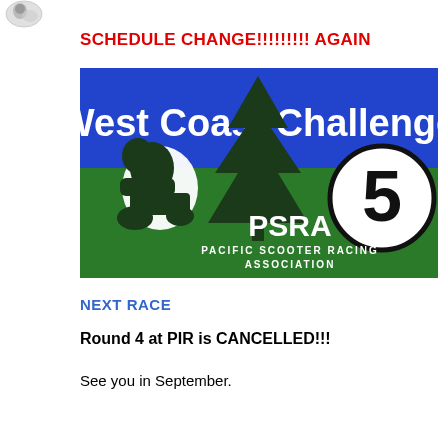[Figure (logo): Small round logo/avatar icon in top-left corner]
SCHEDULE CHANGE!!!!!!!!! AGAIN
[Figure (illustration): West Coast Challenge Round 5 PSRA Pacific Scooter Racing Association banner image. Blue top band with 'West Coast Challenge' in white bold text, green lower section with a silhouetted scooter rider, a large pine tree, a circled number 5, and PSRA Pacific Scooter Racing Association text.]
NEXT RACE
Round 4 at PIR is CANCELLED!!!
See you in September.